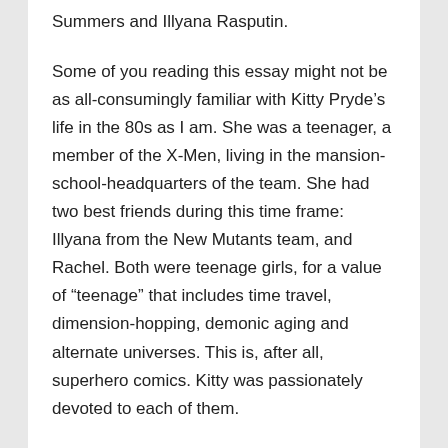Summers and Illyana Rasputin.
Some of you reading this essay might not be as all-consumingly familiar with Kitty Pryde’s life in the 80s as I am. She was a teenager, a member of the X-Men, living in the mansion-school-headquarters of the team. She had two best friends during this time frame: Illyana from the New Mutants team, and Rachel. Both were teenage girls, for a value of “teenage” that includes time travel, dimension-hopping, demonic aging and alternate universes. This is, after all, superhero comics. Kitty was passionately devoted to each of them.